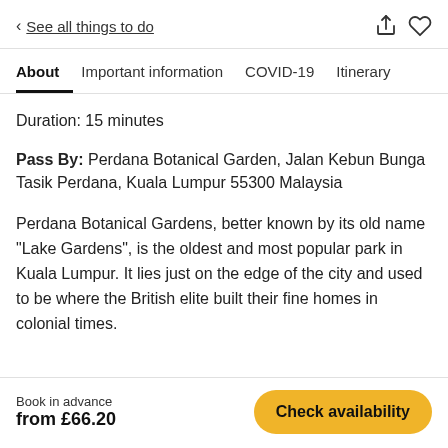< See all things to do
About  Important information  COVID-19  Itinerary
Duration: 15 minutes
Pass By: Perdana Botanical Garden, Jalan Kebun Bunga Tasik Perdana, Kuala Lumpur 55300 Malaysia
Perdana Botanical Gardens, better known by its old name "Lake Gardens", is the oldest and most popular park in Kuala Lumpur. It lies just on the edge of the city and used to be where the British elite built their fine homes in colonial times.
Book in advance
from £66.20
Check availability